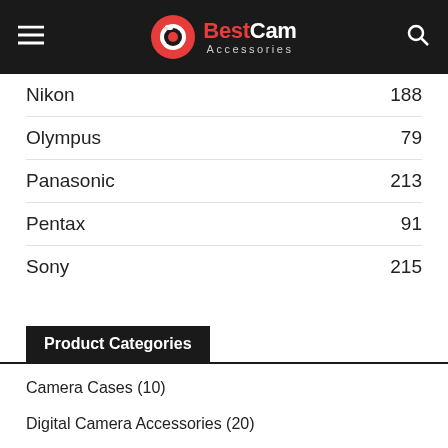BestCam Accessories
Nikon 188
Olympus 79
Panasonic 213
Pentax 91
Sony 215
Product Categories
Camera Cases (10)
Digital Camera Accessories (20)
Digital Cameras (20)
DSLR Cameras (57)
Mirrorless Cameras (36)